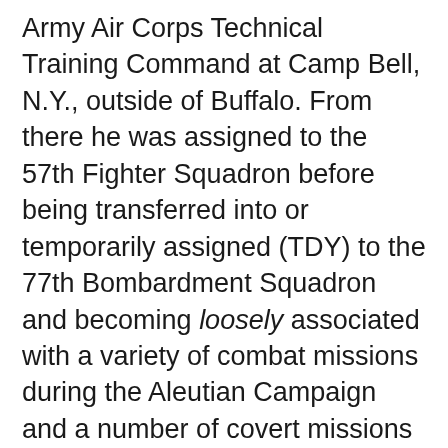Army Air Corps Technical Training Command at Camp Bell, N.Y., outside of Buffalo. From there he was assigned to the 57th Fighter Squadron before being transferred into or temporarily assigned (TDY) to the 77th Bombardment Squadron and becoming loosely associated with a variety of combat missions during the Aleutian Campaign and a number of covert missions over the Arctic, remaining in Alaska, it is thought, until the end of World War II in 1945.(see) The 57th flew both P-39 Airacobras and P-40 Warhawks, sometimes called a Tomahawk, from an airfield carved into the side of Kuluk Bay on Adak, one of the islands along Alaska's Aleutian chain. From